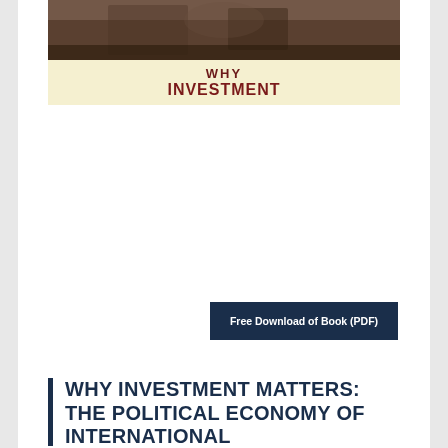[Figure (photo): Book cover showing 'Why Investment' text on a cream/yellow background with a dark photographic image above it]
Free Download of Book (PDF)
WHY INVESTMENT MATTERS: THE POLITICAL ECONOMY OF INTERNATIONAL